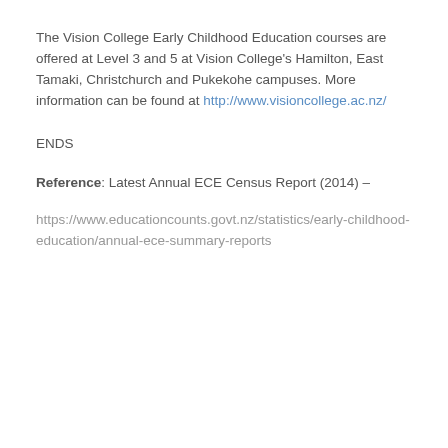The Vision College Early Childhood Education courses are offered at Level 3 and 5 at Vision College's Hamilton, East Tamaki, Christchurch and Pukekohe campuses. More information can be found at http://www.visioncollege.ac.nz/
ENDS
Reference: Latest Annual ECE Census Report (2014) –
https://www.educationcounts.govt.nz/statistics/early-childhood-education/annual-ece-summary-reports